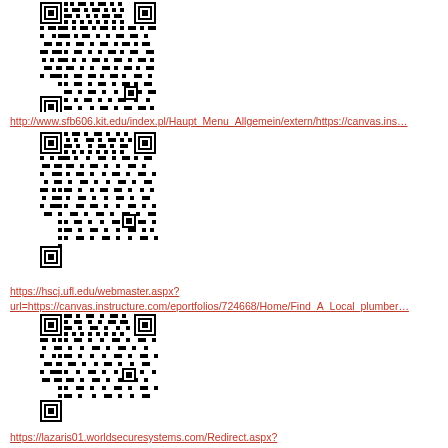[Figure (other): QR code image linking to sfb606.kit.edu redirect URL]
http://www.sfb606.kit.edu/index.pl/Haupt_Menu_Allgemein/extern/https://canvas.ins…
[Figure (other): QR code image linking to hscj.ufl.edu webmaster redirect URL]
https://hscj.ufl.edu/webmaster.aspx?
url=https://canvas.instructure.com/eportfolios/724668/Home/Find_A_Local_plumber…
[Figure (other): QR code image linking to lazaris01.worldsecuresystems.com redirect URL]
https://lazaris01.worldsecuresystems.com/Redirect.aspx?
destination=https://canvas.instructure.com/eportfolios/724668/Home/Find_A_Local…